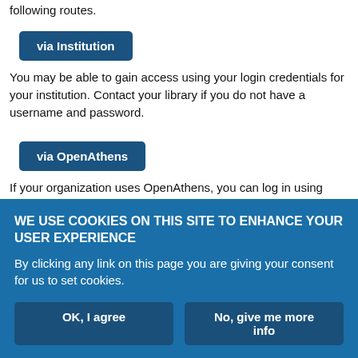following routes.
via Institution
You may be able to gain access using your login credentials for your institution. Contact your library if you do not have a username and password.
via OpenAthens
If your organization uses OpenAthens, you can log in using your OpenAthens username and password. To check if your institution is supported, please see this list. Contact your library for more details.
If you think you should have access, please contact your librarian or
WE USE COOKIES ON THIS SITE TO ENHANCE YOUR USER EXPERIENCE
By clicking any link on this page you are giving your consent for us to set cookies.
OK, I agree
No, give me more info